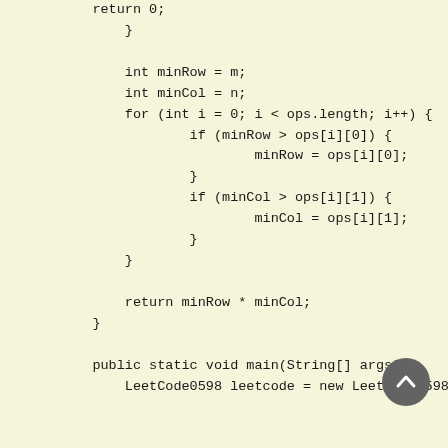return 0;
        }

        int minRow = m;
        int minCol = n;
        for (int i = 0; i < ops.length; i++) {
                if (minRow > ops[i][0]) {
                        minRow = ops[i][0];
                }
                if (minCol > ops[i][1]) {
                        minCol = ops[i][1];
                }
        }

        return minRow * minCol;
    }

    public static void main(String[] args) {
        LeetCode0598 leetcode = new LeetCode0598();